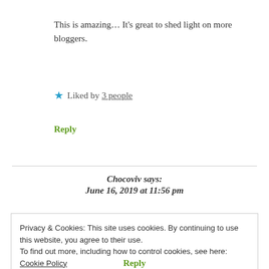This is amazing… It's great to shed light on more bloggers.
★ Liked by 3 people
Reply
Chocoviv says: June 16, 2019 at 11:56 pm
Privacy & Cookies: This site uses cookies. By continuing to use this website, you agree to their use.
To find out more, including how to control cookies, see here: Cookie Policy
Close and accept
Reply